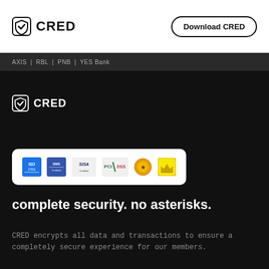CRED | Download CRED
AXIS | RBL | PNB | YES Bank
[Figure (logo): CRED logo in white on dark background]
[Figure (infographic): Security certification badges: ISO, SISA, PCI DSS, and other certification logos on white bar]
complete security. no asterisks.
CRED encrypts all data and transactions to ensure a completely secure experience for our members.